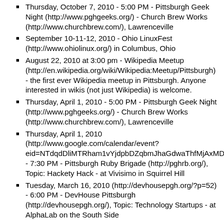Thursday, October 7, 2010 - 5:00 PM - Pittsburgh Geek Night (http://www.pghgeeks.org/) - Church Brew Works (http://www.churchbrew.com/), Lawrenceville
September 10-11-12, 2010 - Ohio LinuxFest (http://www.ohiolinux.org/) in Columbus, Ohio
August 22, 2010 at 3:00 pm - Wikipedia Meetup (http://en.wikipedia.org/wiki/Wikipedia:Meetup/Pittsburgh) - the first ever Wikipedia meetup in Pittsburgh. Anyone interested in wikis (not just Wikipedia) is welcome.
Thursday, April 1, 2010 - 5:00 PM - Pittsburgh Geek Night (http://www.pghgeeks.org/) - Church Brew Works (http://www.churchbrew.com/), Lawrenceville
Thursday, April 1, 2010 (http://www.google.com/calendar/event?eid=NTdqdDliMTRham1vYjdpbDZqbmJhaGdwaThfMjAxMD - 7:30 PM - Pittsburgh Ruby Brigade (http://pghrb.org/), Topic: Hackety Hack - at Vivisimo in Squirrel Hill
Tuesday, March 16, 2010 (http://devhousepgh.org/?p=52) - 6:00 PM - DevHouse Pittsburgh (http://devhousepgh.org/), Topic: Technology Startups - at AlphaLab on the South Side
Thursday, January 7, 2010 - 7:30 PM - Pittsburgh Ruby Brigade (http://www.google.com/calendar/event?eid=NTdqdDliMTRham1vYjdpbDZqbmJhaGdwaThfMjAxMD "Beyond the Basics" at Vivisimo in Squirrel Hill - also see their main site (http://pghrb.org/)